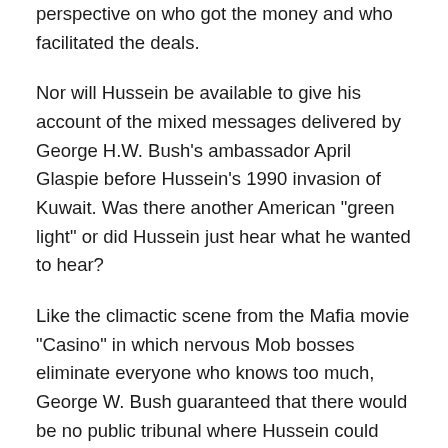perspective on who got the money and who facilitated the deals.
Nor will Hussein be available to give his account of the mixed messages delivered by George H.W. Bush’s ambassador April Glaspie before Hussein’s 1990 invasion of Kuwait. Was there another American “green light” or did Hussein just hear what he wanted to hear?
Like the climactic scene from the Mafia movie “Casino” in which nervous Mob bosses eliminate everyone who knows too much, George W. Bush guaranteed that there would be no public tribunal where Hussein could give testimony on these potentially devastating historical scandals and thus threaten the Bush Family legacy.
That could have happened if Hussein had been turned over to an international tribunal at The Hague as was done